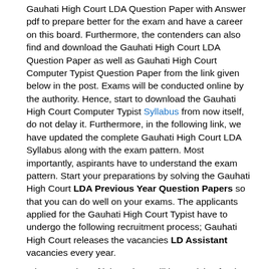Gauhati High Court LDA Question Paper with Answer pdf to prepare better for the exam and have a career on this board. Furthermore, the contenders can also find and download the Gauhati High Court LDA Question Paper as well as Gauhati High Court Computer Typist Question Paper from the link given below in the post. Exams will be conducted online by the authority. Hence, start to download the Gauhati High Court Computer Typist Syllabus from now itself, do not delay it. Furthermore, in the following link, we have updated the complete Gauhati High Court LDA Syllabus along with the exam pattern. Most importantly, aspirants have to understand the exam pattern. Start your preparations by solving the Gauhati High Court LDA Previous Year Question Papers so that you can do well on your exams. The applicants applied for the Gauhati High Court Typist have to undergo the following recruitment process; Gauhati High Court releases the vacancies LD Assistant vacancies every year.
A huge number of job seekers will be applying for the posts. However, there will be a huge competition between the contenders, so if you want to be selected for the